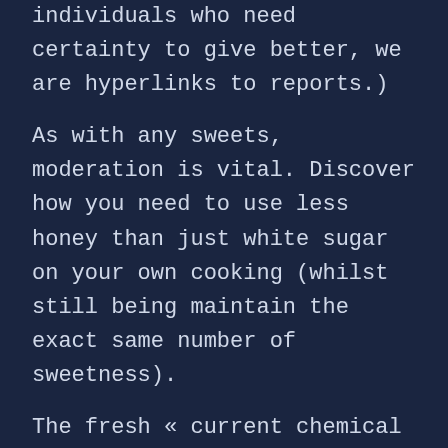individuals who need certainty to give better, we are hyperlinks to reports.)
As with any sweets, moderation is vital. Discover how you need to use less honey than just white sugar on your own cooking (whilst still being maintain the exact same number of sweetness).
The fresh « current chemical » bees promote one allows us to make the most of the energy and you can diet found in honey. (Re-fined sugars, in comparison, push your body to make use of its precious put aside in the chemical ahead of we could procedure her or him.)
Any time you initiate brushing your smile which have honey? Maybe. See how lack states it to be